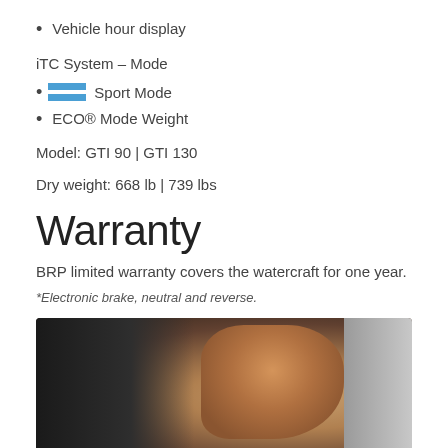Vehicle hour display
iTC System – Mode
Sport Mode
ECO® Mode Weight
Model: GTI 90 | GTI 130
Dry weight: 668 lb | 739 lbs
Warranty
BRP limited warranty covers the watercraft for one year.
*Electronic brake, neutral and reverse.
[Figure (photo): Close-up photo of a hand gripping a watercraft handlebar or control, dark equipment in background.]